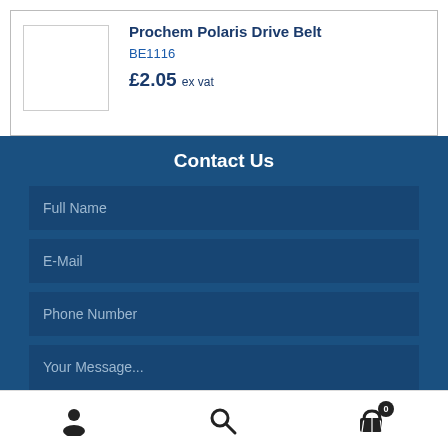Prochem Polaris Drive Belt
BE1116
£2.05 ex vat
Contact Us
Full Name
E-Mail
Phone Number
Your Message...
User icon | Search icon | Cart 0